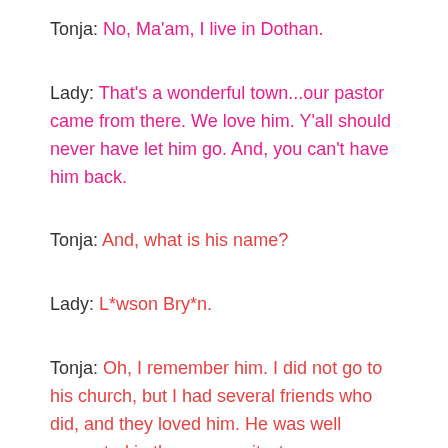Tonja: No, Ma'am, I live in Dothan.
Lady: That's a wonderful town...our pastor came from there. We love him. Y'all should never have let him go. And, you can't have him back.
Tonja: And, what is his name?
Lady: L*wson Bry*n.
Tonja: Oh, I remember him. I did not go to his church, but I had several friends who did, and they loved him. He was well respected in the community, too.
Lady: Well,they'll never get him back. We got him now.